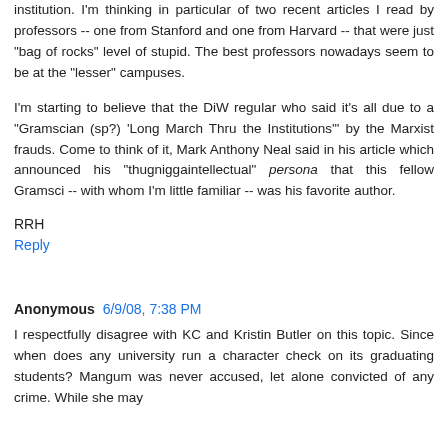institution. I'm thinking in particular of two recent articles I read by professors -- one from Stanford and one from Harvard -- that were just "bag of rocks" level of stupid. The best professors nowadays seem to be at the "lesser" campuses.
I'm starting to believe that the DiW regular who said it's all due to a "Gramscian (sp?) 'Long March Thru the Institutions'" by the Marxist frauds. Come to think of it, Mark Anthony Neal said in his article which announced his "thugniggaintellectual" persona that this fellow Gramsci -- with whom I'm little familiar -- was his favorite author.
RRH
Reply
Anonymous 6/9/08, 7:38 PM
I respectfully disagree with KC and Kristin Butler on this topic. Since when does any university run a character check on its graduating students? Mangum was never accused, let alone convicted of any crime. While she may